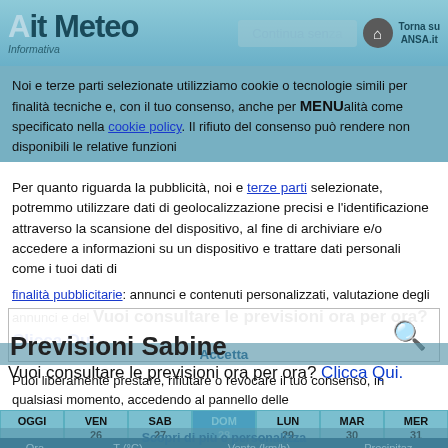Ait Meteo — Informativa — Torna su ANSA.it
Noi e terze parti selezionate utilizziamo cookie o tecnologie simili per finalità tecniche e, con il tuo consenso, anche per finalità come specificato nella cookie policy. Il rifiuto del consenso può rendere non disponibili le relative funzioni.
MENU
Per quanto riguarda la pubblicità, noi e terze parti selezionate, potremmo utilizzare dati di geolocalizzazione precisi e l'identificazione attraverso la scansione del dispositivo, al fine di archiviare e/o accedere a informazioni su un dispositivo e trattare dati personali come i tuoi dati di finalità pubblicitarie: annunci e contenuti personalizzati, valutazione degli annunci e del contenuto.
Previsioni Sabine
Vuoi consultare le previsioni ora per ora? Clicca Qui.
Puoi liberamente prestare, rifiutare o revocare il tuo consenso, in qualsiasi momento, accedendo al pannello delle
| OGGI | VEN 26 | SAB 27 | DOM 28 | LUN 29 | MAR 30 | MER 31 |
| --- | --- | --- | --- | --- | --- | --- |
| Ora | T (°C) |  | Vento (km/h) |  | Precipitaz. |  |
| 01.00 |  | 25,8° |  | WSW debole |  | deboli |
Scopri di più e personalizza